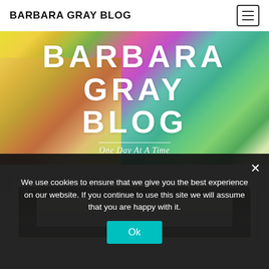BARBARA GRAY BLOG
BARBARA GRAY BLOG
One Day At A Time
[Figure (photo): Watercolor paint abstract background with yellow, green, pink, magenta, and teal colors, used as hero banner background for Barbara Gray Blog]
[Figure (photo): Blog post card showing a piece of paper on a gray/brown surface, partially visible below the hero section]
We use cookies to ensure that we give you the best experience on our website. If you continue to use this site we will assume that you are happy with it.